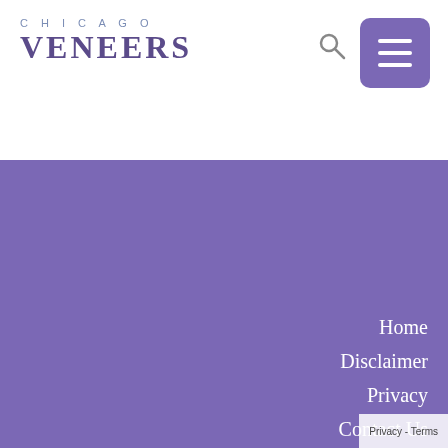[Figure (logo): Chicago Veneers logo with 'CHICAGO' in spaced teal letters above 'VENEERS' in large purple serif font]
Home
Disclaimer
Privacy
Contact Us
Privacy - Terms